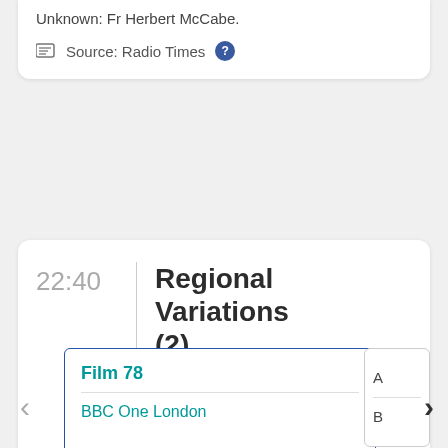Unknown: Fr Herbert McCabe.
Source: Radio Times
22:40
Regional Variations (2)
Film 78
BBC One London